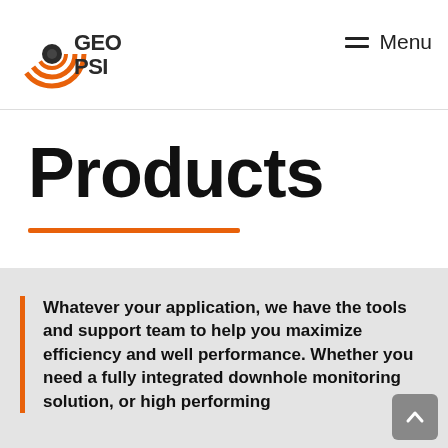[Figure (logo): GEO PSI company logo with orange concentric arcs and a camera/lens icon on the left, bold text GEO PSI on the right]
Menu
Products
Whatever your application, we have the tools and support team to help you maximize efficiency and well performance. Whether you need a fully integrated downhole monitoring solution, or high performing